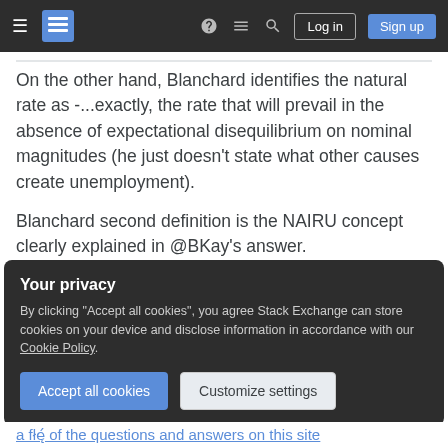Stack Exchange navigation bar with Log in and Sign up buttons
On the other hand, Blanchard identifies the natural rate as -...exactly, the rate that will prevail in the absence of expectational disequilibrium on nominal magnitudes (he just doesn't state what other causes create unemployment).

Blanchard second definition is the NAIRU concept clearly explained in @BKay's answer.
Share   edited Apr 21, 2015 at 10:50
Improve this answer
Your privacy
By clicking "Accept all cookies", you agree Stack Exchange can store cookies on your device and disclose information in accordance with our Cookie Policy.
Accept all cookies   Customize settings